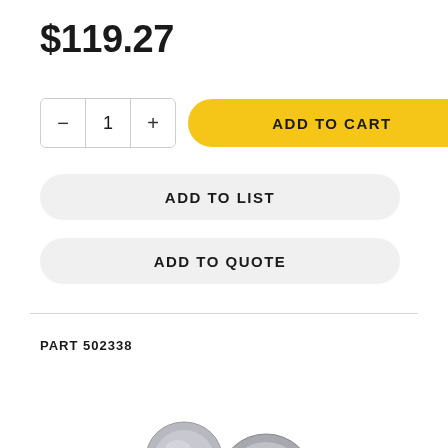$119.27
[Figure (screenshot): Quantity selector with minus button, 1, plus button, and ADD TO CART yellow button]
[Figure (screenshot): ADD TO LIST gray rounded button]
[Figure (screenshot): ADD TO QUOTE gray rounded button]
PART 502338
[Figure (photo): Product photo of a satin nickel door knob set with latch mechanism]